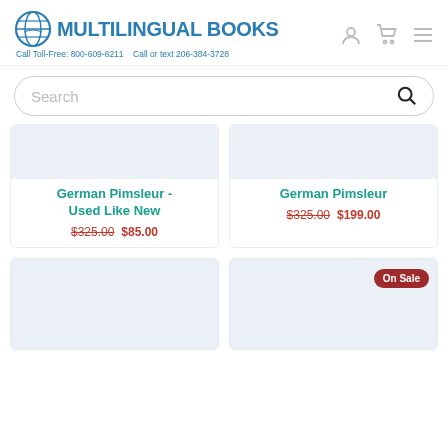MULTILINGUAL BOOKS
Call Toll-Free: 800-609-6211    Call or text 206-384-3728
Search
German Pimsleur - Used Like New
$325.00  $85.00
German Pimsleur
$325.00  $199.00
[Figure (other): Product image placeholder (light blue-grey area) for second row left product card]
[Figure (other): Product image placeholder (light blue-grey area) for second row right product card with On Sale badge]